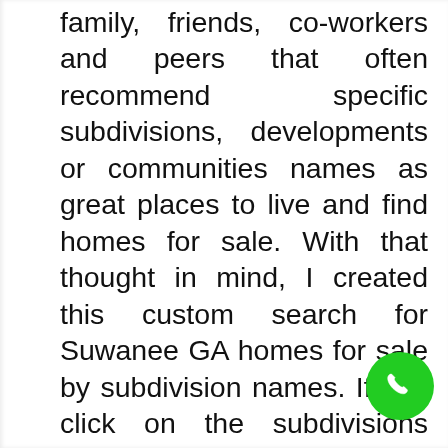family, friends, co-workers and peers that often recommend specific subdivisions, developments or communities names as great places to live and find homes for sale. With that thought in mind, I created this custom search for Suwanee GA homes for sale by subdivision names. If you click on the subdivisions below you will be able to search for homes, condos and town homes for sale in that particular subdivision. If no homes appear, that means no homes are available for sale at this time in that particular community. You can sign up for our Suwanee GA
[Figure (other): Green circular phone/call button icon in the bottom-right corner of the page]